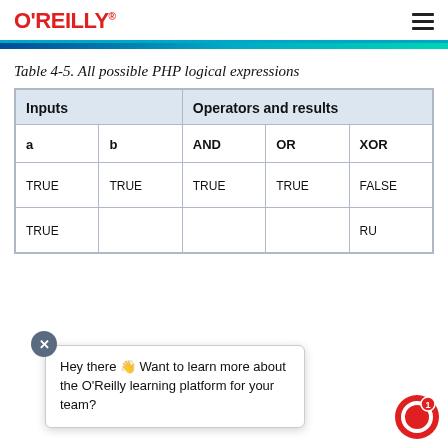O'REILLY
Table 4-5. All possible PHP logical expressions
| Inputs |  | Operators and results |  |  |
| --- | --- | --- | --- | --- |
| TRUE | TRUE | TRUE | TRUE | FALSE |
| TRUE | FALSE | FALSE | TRUE | TRUE |
Hey there 👋 Want to learn more about the O'Reilly learning platform for your team?